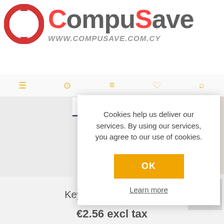[Figure (logo): CompuSave logo with red circular arrows icon and text COMPUSAVE in red and gray, with URL www.compusave.com.cy in gray italic below]
Cookies help us deliver our services. By using our services, you agree to our use of cookies.
OK
Learn more
Keyboard Hand Wrist
€2.56 excl tax